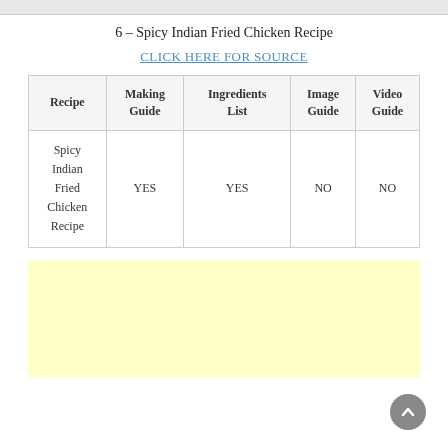6 – Spicy Indian Fried Chicken Recipe
CLICK HERE FOR SOURCE
| Recipe | Making Guide | Ingredients List | Image Guide | Video Guide |
| --- | --- | --- | --- | --- |
| Spicy Indian Fried Chicken Recipe | YES | YES | NO | NO |
[Figure (other): Yellow advertisement box placeholder]